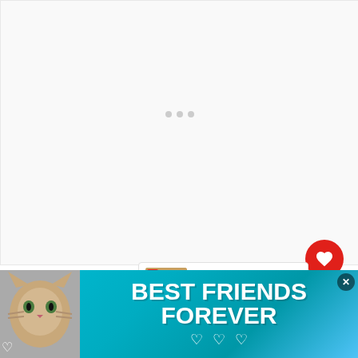[Figure (other): Large whitish empty content area with three small grey loading dots centered, suggesting an image or ad placeholder loading]
[Figure (other): WHAT'S NEXT panel in upper right showing a thumbnail image of cod fish dish and text 'How To Reheat Cod?']
While reheating, the internal tempe... should be kept at 165 degrees F. Many are confused that the temperature is more than once, but...
[Figure (other): Advertisement banner at bottom with teal/cyan gradient background showing a cat photo and large text BEST FRIENDS FOREVER with heart icons]